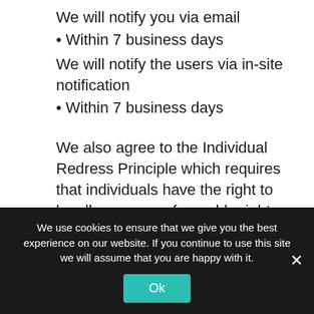We will notify you via email
• Within 7 business days
We will notify the users via in-site notification
• Within 7 business days
We also agree to the Individual Redress Principle which requires that individuals have the right to legally pursue enforceable rights against data collectors and processors who fail to adhere to the law. This principle requires not only that individuals have enforceable rights against data users, but also that individuals have recourse to courts or government
We use cookies to ensure that we give you the best experience on our website. If you continue to use this site we will assume that you are happy with it.